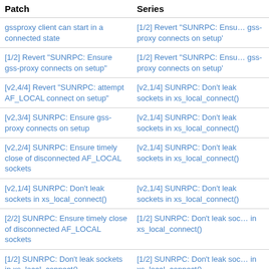| Patch | Series |
| --- | --- |
| gssproxy client can start in a connected state | [1/2] Revert "SUNRPC: Ensure gss-proxy connects on setup" |
| [1/2] Revert "SUNRPC: Ensure gss-proxy connects on setup" | [1/2] Revert "SUNRPC: Ensure gss-proxy connects on setup" |
| [v2,4/4] Revert "SUNRPC: attempt AF_LOCAL connect on setup" | [v2,1/4] SUNRPC: Don't leak sockets in xs_local_connect() |
| [v2,3/4] SUNRPC: Ensure gss-proxy connects on setup | [v2,1/4] SUNRPC: Don't leak sockets in xs_local_connect() |
| [v2,2/4] SUNRPC: Ensure timely close of disconnected AF_LOCAL sockets | [v2,1/4] SUNRPC: Don't leak sockets in xs_local_connect() |
| [v2,1/4] SUNRPC: Don't leak sockets in xs_local_connect() | [v2,1/4] SUNRPC: Don't leak sockets in xs_local_connect() |
| [2/2] SUNRPC: Ensure timely close of disconnected AF_LOCAL sockets | [1/2] SUNRPC: Don't leak sockets in xs_local_connect() |
| [1/2] SUNRPC: Don't leak sockets in xs_local_connect() | [1/2] SUNRPC: Don't leak sockets in xs_local_connect() |
| NFSv4: Don't invalidate inode attributes on delegation return | NFSv4: Don't invalidate inode attributes on delegation return |
| [v2,5/5] NFS: Don't report errors from | Ensure mapping errors are |